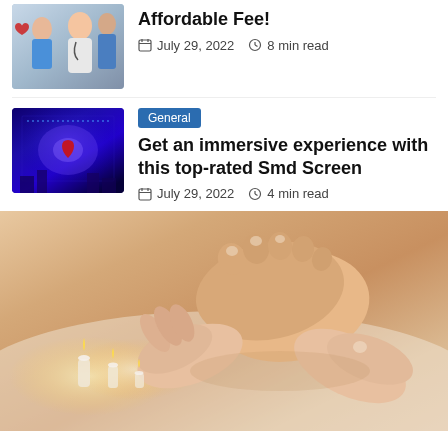[Figure (photo): Medical professionals in scrubs and white coat with stethoscope, partial view at top]
Affordable Fee!
July 29, 2022   8 min read
[Figure (photo): Colorful LED/SMD screen display on a building at night with blue and purple lights]
General
Get an immersive experience with this top-rated Smd Screen
July 29, 2022   4 min read
[Figure (photo): Close-up of hands giving a foot massage, with candles in the background on a white surface]